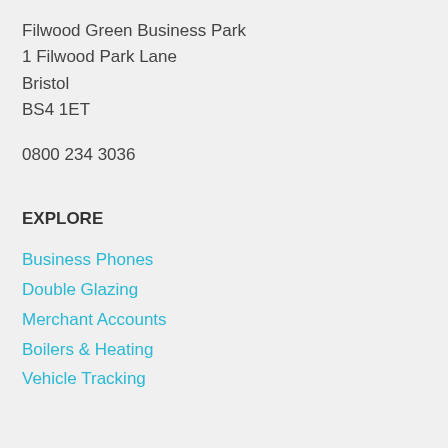Filwood Green Business Park
1 Filwood Park Lane
Bristol
BS4 1ET
0800 234 3036
EXPLORE
Business Phones
Double Glazing
Merchant Accounts
Boilers & Heating
Vehicle Tracking